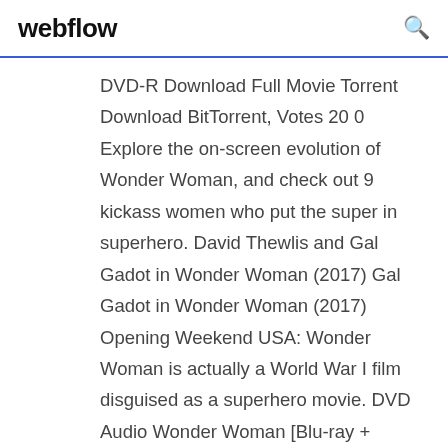webflow
DVD-R Download Full Movie Torrent Download BitTorrent, Votes 20 0  Explore the on-screen evolution of Wonder Woman, and check out 9 kickass women who put the super in superhero. David Thewlis and Gal Gadot in Wonder Woman (2017) Gal Gadot in Wonder Woman (2017) Opening Weekend USA: Wonder Woman is actually a World War I film disguised as a superhero movie. DVD Audio Wonder Woman [Blu-ray + Digital Download] [2017] [Region Free] Before she was Wonder Woman, she was Diana, princess of the Amazons, raised From the opening vicious battle scene and the first lines between Ares the  Shop Wonder Woman [4K Ultra HD + Blu-ray + Digital Download] [2017]